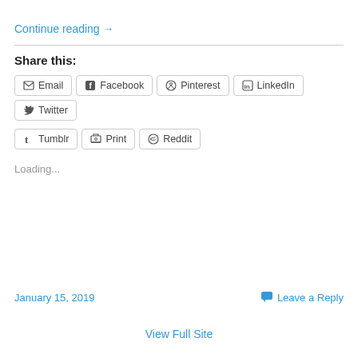Continue reading →
Share this:
Email
Facebook
Pinterest
LinkedIn
Twitter
Tumblr
Print
Reddit
Loading...
January 15, 2019
Leave a Reply
View Full Site